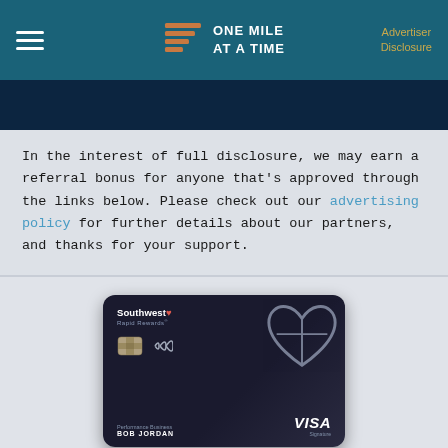ONE MILE AT A TIME — Advertiser Disclosure
In the interest of full disclosure, we may earn a referral bonus for anyone that's approved through the links below. Please check out our advertising policy for further details about our partners, and thanks for your support.
[Figure (photo): Southwest Rapid Rewards Performance Business Visa Signature credit card — black card with heart logo, chip, and contactless symbol. Cardholder name: BOB JORDAN.]
Southwest® Rapid Rewards®